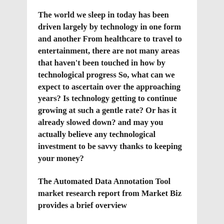The world we sleep in today has been driven largely by technology in one form and another  From healthcare to travel to entertainment, there are not many areas that haven't been touched in how by technological progress  So, what can we expect to ascertain over the approaching years? Is technology getting to continue growing at such a gentle rate? Or has it already slowed down? and may you actually believe any technological investment to be savvy thanks to keeping your money?
The Automated Data Annotation Tool market research report from Market Biz provides a brief overview